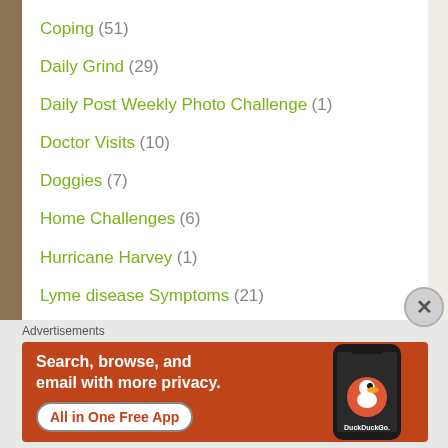Coping (51)
Daily Grind (29)
Daily Post Weekly Photo Challenge (1)
Doctor Visits (10)
Doggies (7)
Home Challenges (6)
Hurricane Harvey (1)
Lyme disease Symptoms (21)
memories (2)
Advertisements
[Figure (screenshot): DuckDuckGo advertisement banner: orange background with white bold text 'Search, browse, and email with more privacy.' and 'All in One Free App' button, alongside a smartphone showing DuckDuckGo logo]